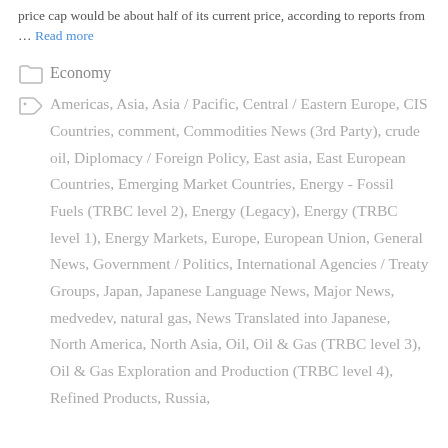price cap would be about half of its current price, according to reports from … Read more
Economy
Americas, Asia, Asia / Pacific, Central / Eastern Europe, CIS Countries, comment, Commodities News (3rd Party), crude oil, Diplomacy / Foreign Policy, East asia, East European Countries, Emerging Market Countries, Energy - Fossil Fuels (TRBC level 2), Energy (Legacy), Energy (TRBC level 1), Energy Markets, Europe, European Union, General News, Government / Politics, International Agencies / Treaty Groups, Japan, Japanese Language News, Major News, medvedev, natural gas, News Translated into Japanese, North America, North Asia, Oil, Oil & Gas (TRBC level 3), Oil & Gas Exploration and Production (TRBC level 4), Refined Products, Russia,